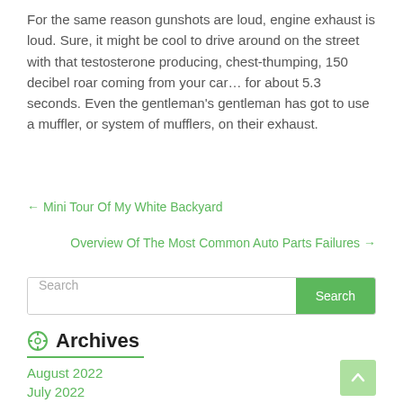For the same reason gunshots are loud, engine exhaust is loud. Sure, it might be cool to drive around on the street with that testosterone producing, chest-thumping, 150 decibel roar coming from your car… for about 5.3 seconds. Even the gentleman's gentleman has got to use a muffler, or system of mufflers, on their exhaust.
← Mini Tour Of My White Backyard
Overview Of The Most Common Auto Parts Failures →
Search
Archives
August 2022
July 2022